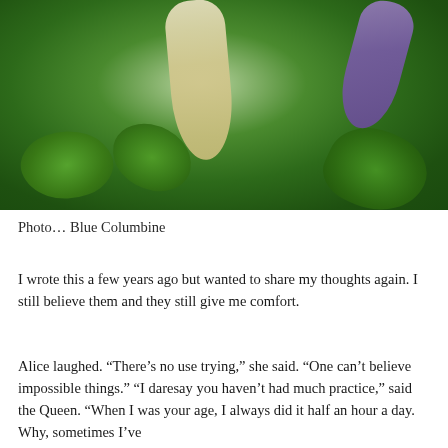[Figure (photo): Close-up photograph of Blue Columbine flowers with cream/white and purple petals against a background of lush green leaves.]
Photo… Blue Columbine
I wrote this a few years ago but wanted to share my thoughts again. I still believe them and they still give me comfort.
Alice laughed. “There’s no use trying,” she said. “One can’t believe impossible things.” “I daresay you haven’t had much practice,” said the Queen. “When I was your age, I always did it half an hour a day. Why, sometimes I’ve